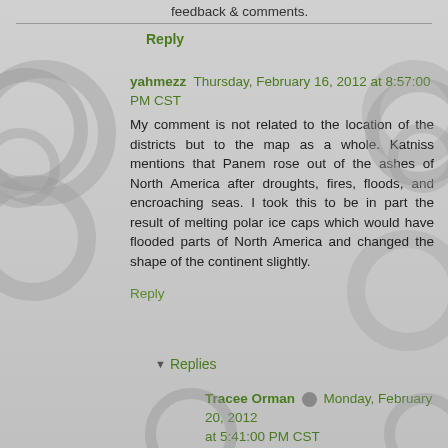feedback & comments.
Reply
yahmezz  Thursday, February 16, 2012 at 8:57:00 PM CST
My comment is not related to the location of the districts but to the map as a whole. Katniss mentions that Panem rose out of the ashes of North America after droughts, fires, floods, and encroaching seas. I took this to be in part the result of melting polar ice caps which would have flooded parts of North America and changed the shape of the continent slightly.
Reply
Replies
Tracee Orman  Monday, February 20, 2012 at 5:41:00 PM CST
I agree. My other maps have the topography if the sea level rose 100 feet (which is a lot). I liked